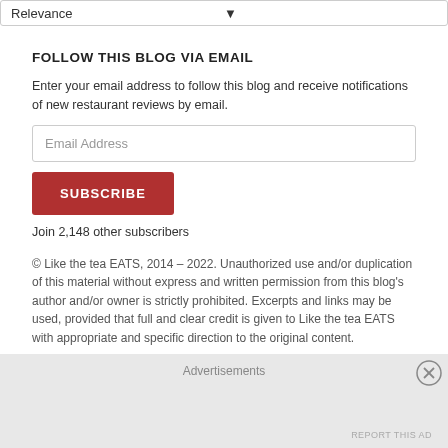Relevance
FOLLOW THIS BLOG VIA EMAIL
Enter your email address to follow this blog and receive notifications of new restaurant reviews by email.
Email Address
SUBSCRIBE
Join 2,148 other subscribers
© Like the tea EATS, 2014 – 2022. Unauthorized use and/or duplication of this material without express and written permission from this blog's author and/or owner is strictly prohibited. Excerpts and links may be used, provided that full and clear credit is given to Like the tea EATS with appropriate and specific direction to the original content.
Advertisements
REPORT THIS AD